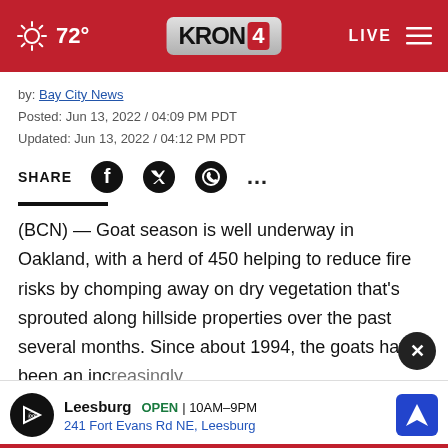72° KRON4 LIVE
by: Bay City News
Posted: Jun 13, 2022 / 04:09 PM PDT
Updated: Jun 13, 2022 / 04:12 PM PDT
SHARE
(BCN) — Goat season is well underway in Oakland, with a herd of 450 helping to reduce fire risks by chomping away on dry vegetation that's sprouted along hillside properties over the past several months. Since about 1994, the goats have been an increasingly integral part of the Oakland Fire Department's fire hazard...s one
[Figure (screenshot): Advertisement overlay for Leesburg store: open 10AM–9PM, 241 Fort Evans Rd NE, Leesburg, with navigation icon]